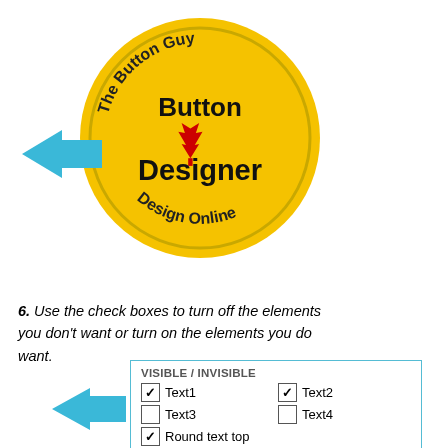[Figure (logo): Circular yellow badge logo for 'The Button Guy Button Designer Design Online' with a red maple leaf in the center, black bold text 'Button' and 'Designer', and curved text around the edge reading 'The Button Guy' on top and 'Design Online' on the bottom. A light blue arrow points to the left side of the badge.]
6. Use the check boxes to turn off the elements you don't want or turn on the elements you do want.
[Figure (screenshot): A UI panel titled 'VISIBLE / INVISIBLE' with checkboxes. Text1 (checked), Text2 (checked), Text3 (unchecked), Text4 (unchecked), Round text top (checked), Round text bottom (checked). A blue arrow points to the checked checkbox row.]